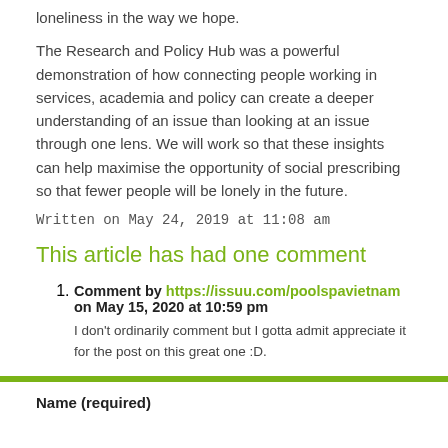loneliness in the way we hope.
The Research and Policy Hub was a powerful demonstration of how connecting people working in services, academia and policy can create a deeper understanding of an issue than looking at an issue through one lens. We will work so that these insights can help maximise the opportunity of social prescribing so that fewer people will be lonely in the future.
Written on May 24, 2019 at 11:08 am
This article has had one comment
Comment by https://issuu.com/poolspavietnam on May 15, 2020 at 10:59 pm
I don’t ordinarily comment but I gotta admit appreciate it for the post on this great one :D.
Name (required)